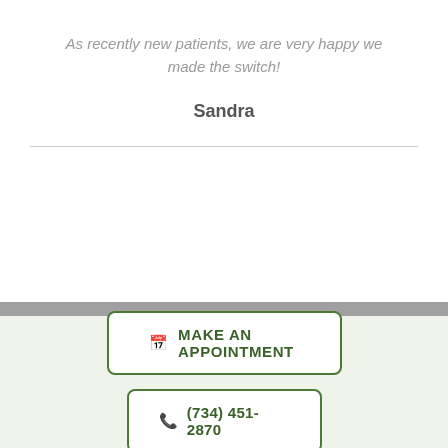As recently new patients, we are very happy we made the switch!
Sandra
MAKE AN APPOINTMENT
(734) 451-2870